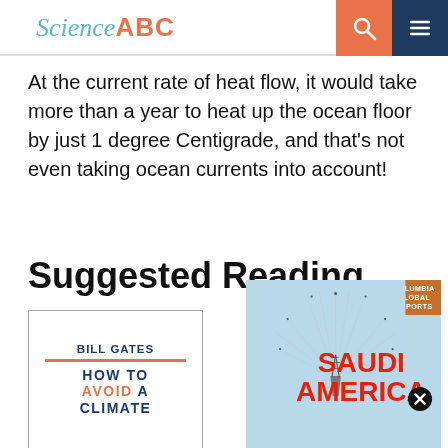Science ABC
At the current rate of heat flow, it would take more than a year to heat up the ocean floor by just 1 degree Centigrade, and that's not even taking ocean currents into account!
Suggested Reading
[Figure (illustration): Book cover: Bill Gates - How To Avoid A Climate (Disaster)]
[Figure (illustration): Book cover: Saudi America (Columbia Global Reports), with firework/oil derrick illustration and red title text]